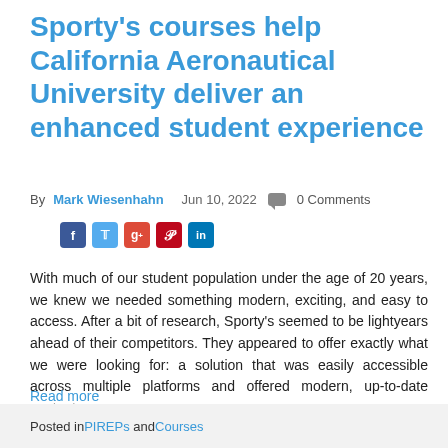Sporty's courses help California Aeronautical University deliver an enhanced student experience
By Mark Wiesenhahn   Jun 10, 2022   0 Comments
With much of our student population under the age of 20 years, we knew we needed something modern, exciting, and easy to access. After a bit of research, Sporty's seemed to be lightyears ahead of their competitors. They appeared to offer exactly what we were looking for: a solution that was easily accessible across multiple platforms and offered modern, up-to-date content.
Read more
Posted in PIREPs and Courses